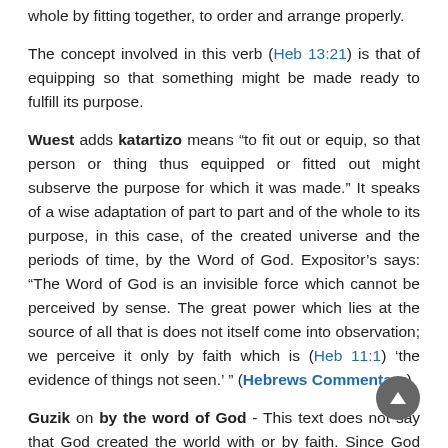whole by fitting together, to order and arrange properly.
The concept involved in this verb (Heb 13:21) is that of equipping so that something might be made ready to fulfill its purpose.
Wuest adds katartizo means “to fit out or equip, so that person or thing thus equipped or fitted out might subserve the purpose for which it was made.” It speaks of a wise adaptation of part to part and of the whole to its purpose, in this case, of the created universe and the periods of time, by the Word of God. Expositor’s says: “The Word of God is an invisible force which cannot be perceived by sense. The great power which lies at the source of all that is does not itself come into observation; we perceive it only by faith which is (Heb 11:1) ‘the evidence of things not seen.’ ” (Hebrews Commentary)
Guzik on by the word of God - This text does not say that God created the world with or by faith. Since God sees and knows all things, “faith” in a human sense does not apply to Him. Since we understand faith as the substance of things hoped